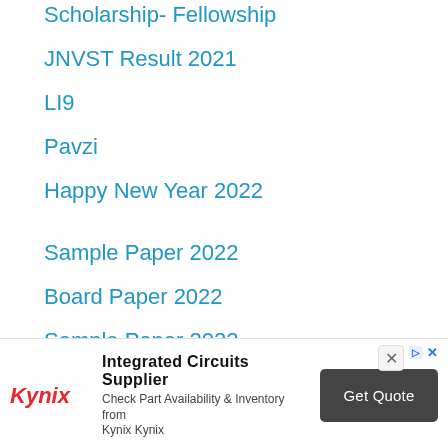Scholarship- Fellowship
JNVST Result 2021
LI9
Pavzi
Happy New Year 2022
Sample Paper 2022
Board Paper 2022
Sample Paper 2022
[Figure (screenshot): Advertisement banner for Kynix - Integrated Circuits Supplier with Get Quote button]